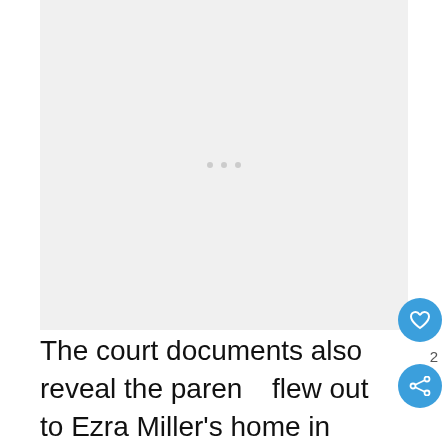[Figure (photo): Light gray placeholder image area with three small gray dots centered near the top third of the image area]
The court documents also reveal the parents flew out to Ezra Miller's home in Vermont in January to get their daughter where they discovered Tokata didn't have her driver's license, and other details about their situation.